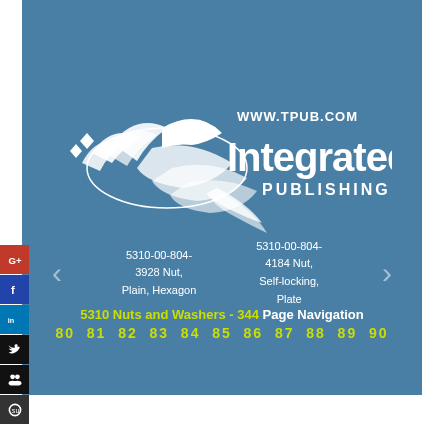HOME   DOWNLOAD PDF   ORDER CD-ROM   ORDER IN PRINT
[Figure (logo): Integrated Publishing logo with bird/feather graphic and text 'WWW.TPUB.COM Integrated PUBLISHING']
5310-00-804-3928 Nut, Plain, Hexagon
5310-00-804-4184 Nut, Self-locking, Plate
5310 Nuts and Washers - 344 Page Navigation
80  81  82  83  84  85  86  87  88  89  90